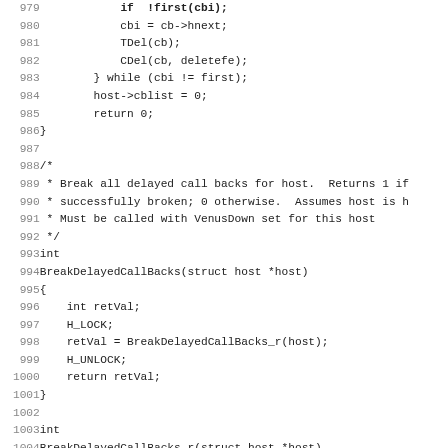Source code listing, lines 979-1011, C programming language showing callback and BreakDelayedCallBacks functions